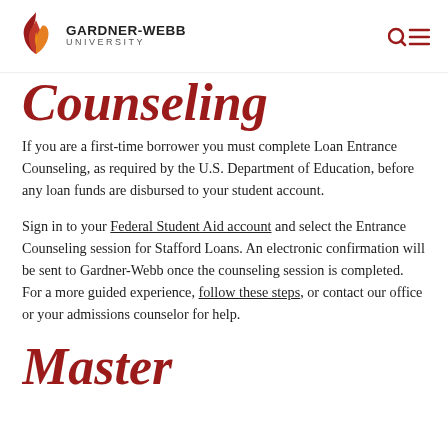Gardner-Webb University
Counseling
If you are a first-time borrower you must complete Loan Entrance Counseling, as required by the U.S. Department of Education, before any loan funds are disbursed to your student account.
Sign in to your Federal Student Aid account and select the Entrance Counseling session for Stafford Loans. An electronic confirmation will be sent to Gardner-Webb once the counseling session is completed. For a more guided experience, follow these steps, or contact our office or your admissions counselor for help.
Master